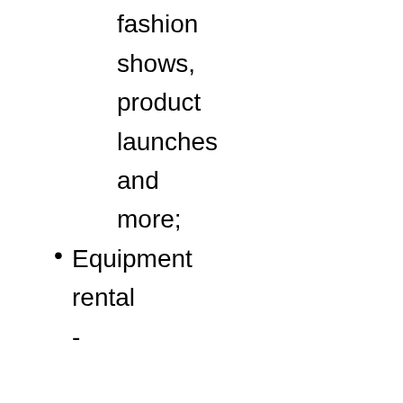conferences, fashion shows, product launches and more;
Equipment rental - dry hire or engineered, with backline also available;
Live audio ...